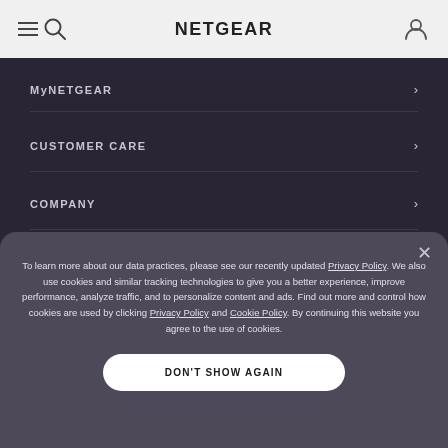NETGEAR
MyNETGEAR
CUSTOMER CARE
COMPANY
To learn more about our data practices, please see our recently updated Privacy Policy. We also use cookies and similar tracking technologies to give you a better experience, improve performance, analyze traffic, and to personalize content and ads. Find out more and control how cookies are used by clicking Privacy Policy and Cookie Policy. By continuing this website you agree to the use of cookies.
DON'T SHOW AGAIN